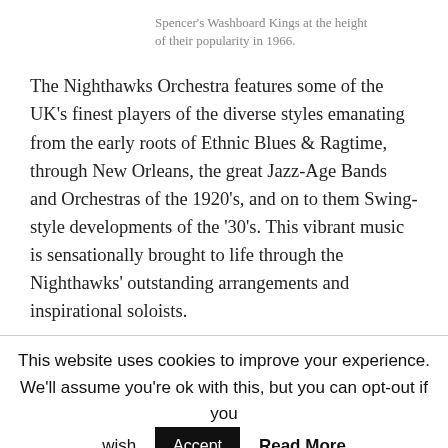Spencer's Washboard Kings at the height of their popularity in 1966.
The Nighthawks Orchestra features some of the UK's finest players of the diverse styles emanating from the early roots of Ethnic Blues & Ragtime, through New Orleans, the great Jazz-Age Bands and Orchestras of the 1920's, and on to them Swing-style developments of the '30's. This vibrant music is sensationally brought to life through the Nighthawks' outstanding arrangements and inspirational soloists.
This website uses cookies to improve your experience. We'll assume you're ok with this, but you can opt-out if you wish.  Accept  Read More